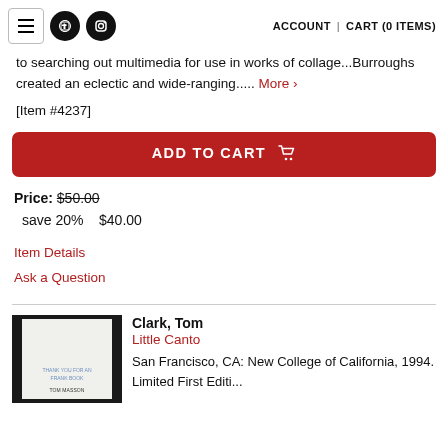ACCOUNT | CART (0 ITEMS)
to searching out multimedia for use in works of collage...Burroughs created an eclectic and wide-ranging..... More >
[Item #4237]
ADD TO CART
Price: $50.00
save 20%  $40.00
Item Details
Ask a Question
Clark, Tom
Little Canto
San Francisco, CA: New College of California, 1994. Limited First Edition.